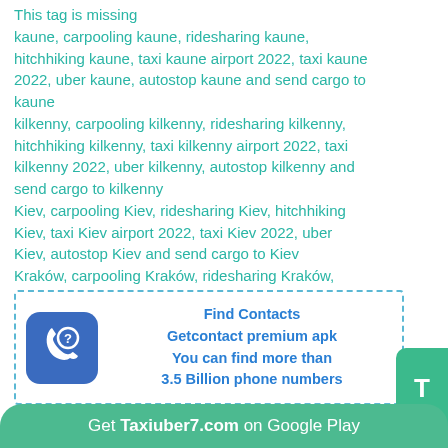This tag is missing kaune, carpooling kaune, ridesharing kaune, hitchhiking kaune, taxi kaune airport 2022, taxi kaune 2022, uber kaune, autostop kaune and send cargo to kaune kilkenny, carpooling kilkenny, ridesharing kilkenny, hitchhiking kilkenny, taxi kilkenny airport 2022, taxi kilkenny 2022, uber kilkenny, autostop kilkenny and send cargo to kilkenny Kiev, carpooling Kiev, ridesharing Kiev, hitchhiking Kiev, taxi Kiev airport 2022, taxi Kiev 2022, uber Kiev, autostop Kiev and send cargo to Kiev Kraków, carpooling Kraków, ridesharing Kraków, hitchhiking Kraków, taxi Kraków airport 2022, taxi Kraków 2022, uber Kraków, autostop Kraków and send cargo to Kraków
[Figure (infographic): Advertisement box with phone/question mark icon on blue rounded square background, bold blue text: Find Contacts, Getcontact premium apk, You can find more than 3.5 Billion phone numbers. Green T button on right edge.]
Taxiuber7.com
Get Taxiuber7.com on Google Play